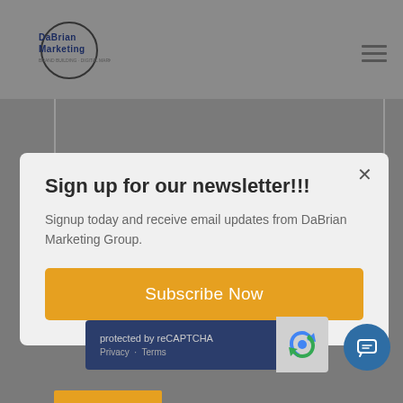[Figure (logo): DaBrian Marketing logo — circular logo with company name text]
Sign up for our newsletter!!!
Signup today and receive email updates from DaBrian Marketing Group.
Subscribe Now
protected by reCAPTCHA
Privacy - Terms